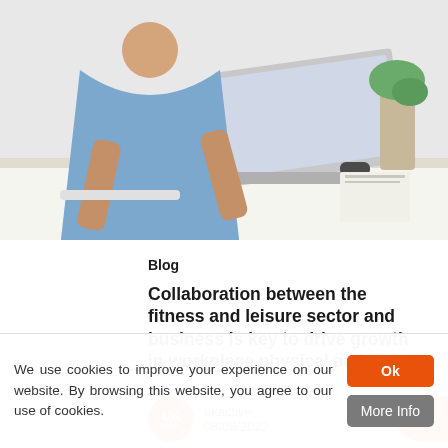[Figure (photo): Office scene with person in blue shirt working at a laptop on a white desk]
Blog
Collaboration between the fitness and leisure sector and business is key to drive growth in workplace physical activity
ukactive 08/08/2022
We use cookies to improve your experience on our website. By browsing this website, you agree to our use of cookies.